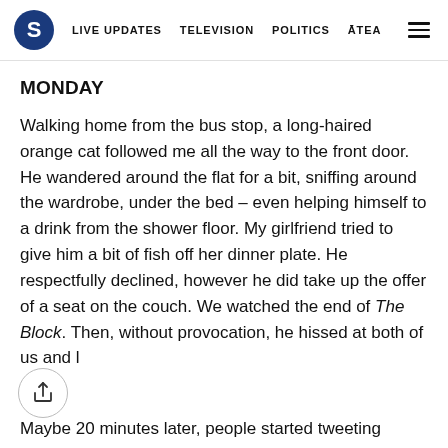S | LIVE UPDATES | TELEVISION | POLITICS | ĀTEA
MONDAY
Walking home from the bus stop, a long-haired orange cat followed me all the way to the front door. He wandered around the flat for a bit, sniffing around the wardrobe, under the bed – even helping himself to a drink from the shower floor. My girlfriend tried to give him a bit of fish off her dinner plate. He respectfully declined, however he did take up the offer of a seat on the couch. We watched the end of The Block. Then, without provocation, he hissed at both of us and l
Maybe 20 minutes later, people started tweeting